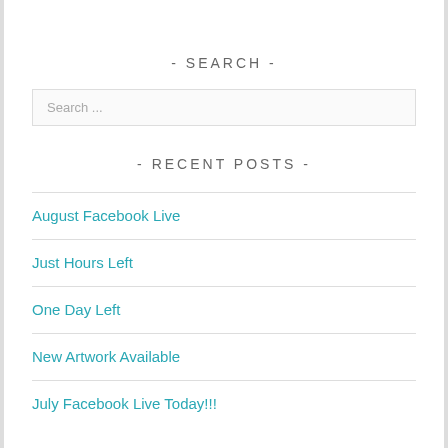- SEARCH -
Search ...
- RECENT POSTS -
August Facebook Live
Just Hours Left
One Day Left
New Artwork Available
July Facebook Live Today!!!